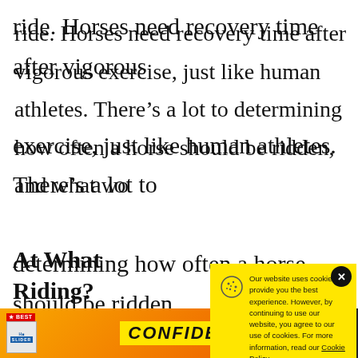ride. Horses need recovery time after vigorous exercise, just like human athletes. There's a lot to determining how often a horse should be ridden, and what wo
At What A Riding?
There is no a horses have
[Figure (screenshot): Cookie consent popup with yellow background. Text: 'Our website uses cookies to provide you the best experience. However, by continuing to use our website, you agree to our use of cookies. For more information, read our Cookie Policy.' Accept button at bottom. Close (X) button in top right corner.]
[Figure (photo): Advertisement banner at the bottom showing product boxes with 'Slider' label and text 'CONFIDENCE' in bold italic style on a yellow/orange background.]